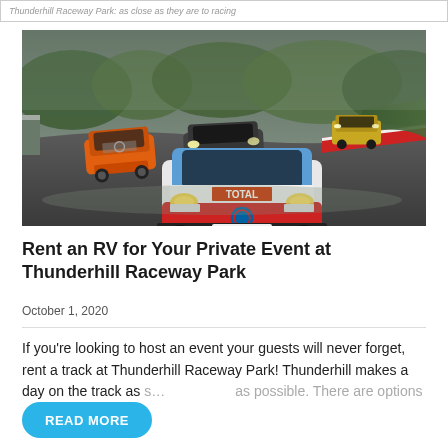Thunderhill Raceway Park: as close as they are to racing
[Figure (photo): Racing cars on a wet track at a raceway, with a BMW GT car in the foreground and orange Mercedes GT cars behind, photographed on a foggy day.]
Rent an RV for Your Private Event at Thunderhill Raceway Park
October 1, 2020
If you're looking to host an event your guests will never forget, rent a track at Thunderhill Raceway Park! Thunderhill makes a day on the track as s… as possible. There are options…